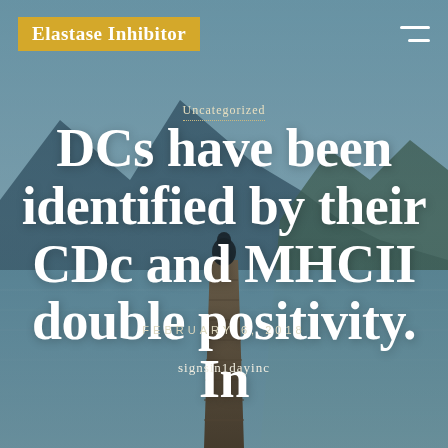[Figure (photo): A scenic mountain lake landscape with a wooden dock extending into calm water, a person sitting at the end of the dock, mountains and sky reflected in the water. Serves as full-page background.]
Elastase Inhibitor
Uncategorized
DCs have been identified by their CDc and MHCII double positivity. In
FEBRUARY 6, 2018
signsin1dayinc